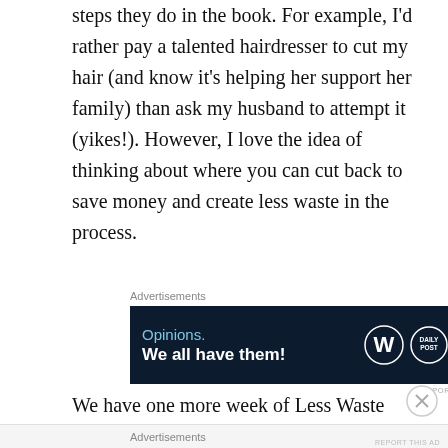steps they do in the book. For example, I’d rather pay a talented hairdresser to cut my hair (and know it’s helping her support her family) than ask my husband to attempt it (yikes!). However, I love the idea of thinking about where you can cut back to save money and create less waste in the process.
[Figure (screenshot): Advertisement banner with dark navy background. Text reads 'Opinions. We all have them!' with WordPress and Daily Post logos on the right.]
We have one more week of Less Waste Lent, but I’m confident we will continue along this road